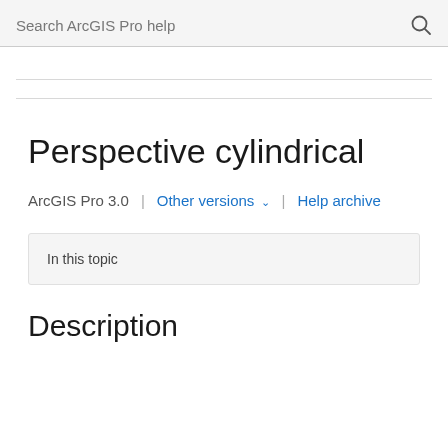Search ArcGIS Pro help
Perspective cylindrical
ArcGIS Pro 3.0 | Other versions ∨ | Help archive
In this topic
Description